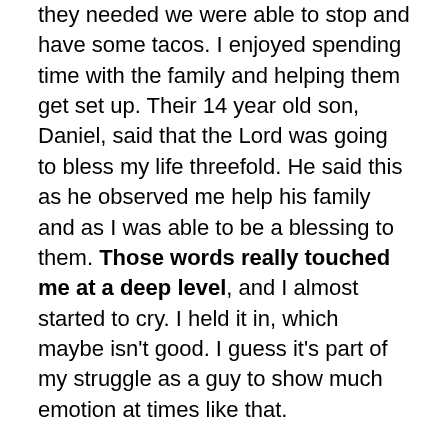they needed we were able to stop and have some tacos. I enjoyed spending time with the family and helping them get set up. Their 14 year old son, Daniel, said that the Lord was going to bless my life threefold. He said this as he observed me help his family and as I was able to be a blessing to them. Those words really touched me at a deep level, and I almost started to cry. I held it in, which maybe isn't good. I guess it's part of my struggle as a guy to show much emotion at times like that.
I genuinely enjoyed working with Federico and Blanca, and helping them to move into a nice place so that they can reach out in that community. Yet, the words of their son touched me in deep way. It was a moment that money can't buy. They were simple words, but the Lord used the words of a young boy to minister to my spirit.
There are a lot of challenges to starting a church, and